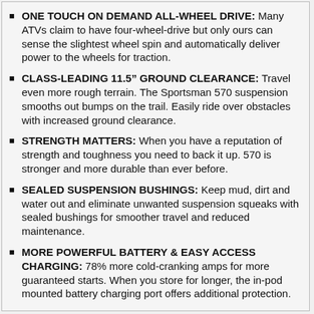ONE TOUCH ON DEMAND ALL-WHEEL DRIVE: Many ATVs claim to have four-wheel-drive but only ours can sense the slightest wheel spin and automatically deliver power to the wheels for traction.
CLASS-LEADING 11.5" GROUND CLEARANCE: Travel even more rough terrain. The Sportsman 570 suspension smooths out bumps on the trail. Easily ride over obstacles with increased ground clearance.
STRENGTH MATTERS: When you have a reputation of strength and toughness you need to back it up. 570 is stronger and more durable than ever before.
SEALED SUSPENSION BUSHINGS: Keep mud, dirt and water out and eliminate unwanted suspension squeaks with sealed bushings for smoother travel and reduced maintenance.
MORE POWERFUL BATTERY & EASY ACCESS CHARGING: 78% more cold-cranking amps for more guaranteed starts. When you store for longer, the in-pod mounted battery charging port offers additional protection.